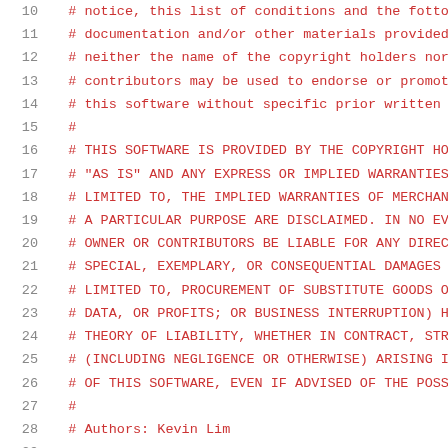Source code listing lines 10-31 showing BSD license comment block and Python imports
10  # notice, this list of conditions and the follo
11  # documentation and/or other materials provided
12  # neither the name of the copyright holders nor
13  # contributors may be used to endorse or promote
14  # this software without specific prior written p
15  #
16  # THIS SOFTWARE IS PROVIDED BY THE COPYRIGHT HO
17  # "AS IS" AND ANY EXPRESS OR IMPLIED WARRANTIES
18  # LIMITED TO, THE IMPLIED WARRANTIES OF MERCHAN
19  # A PARTICULAR PURPOSE ARE DISCLAIMED. IN NO EV
20  # OWNER OR CONTRIBUTORS BE LIABLE FOR ANY DIREC
21  # SPECIAL, EXEMPLARY, OR CONSEQUENTIAL DAMAGES
22  # LIMITED TO, PROCUREMENT OF SUBSTITUTE GOODS O
23  # DATA, OR PROFITS; OR BUSINESS INTERRUPTION) H
24  # THEORY OF LIABILITY, WHETHER IN CONTRACT, STR
25  # (INCLUDING NEGLIGENCE OR OTHERWISE) ARISING IN
26  # OF THIS SOFTWARE, EVEN IF ADVISED OF THE POSS
27  #
28  # Authors: Kevin Lim
29
30  import os, os.path, re, socket, sys
31  from os import environ as env, listdir